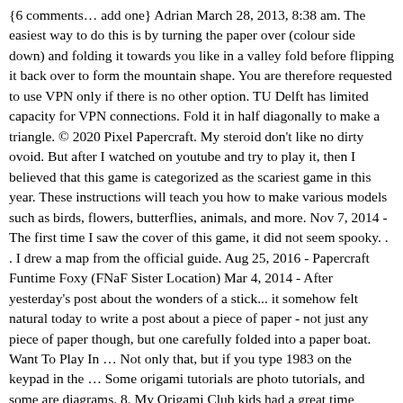{6 comments… add one} Adrian March 28, 2013, 8:38 am. The easiest way to do this is by turning the paper over (colour side down) and folding it towards you like in a valley fold before flipping it back over to form the mountain shape. You are therefore requested to use VPN only if there is no other option. TU Delft has limited capacity for VPN connections. Fold it in half diagonally to make a triangle. © 2020 Pixel Papercraft. My steroid don't like no dirty ovoid. But after I watched on youtube and try to play it, then I believed that this game is categorized as the scariest game in this year. These instructions will teach you how to make various models such as birds, flowers, butterflies, animals, and more. Nov 7, 2014 - The first time I saw the cover of this game, it did not seem spooky. . . I drew a map from the official guide. Aug 25, 2016 - Papercraft Funtime Foxy (FNaF Sister Location) Mar 4, 2014 - After yesterday's post about the wonders of a stick... it somehow felt natural today to write a post about a piece of paper - not just any piece of paper though, but one carefully folded into a paper boat. Want To Play In … Not only that, but if you type 1983 on the keypad in the … Some origami tutorials are photo tutorials, and some are diagrams. 8. My Origami Club kids had a great time making these this week! Origami Party & Gifting All Papercraft Painting Printing & Printmaking ... FNAF Party Printable | Instant Download | Five Night's At Freddy's Birthday Decorations | Fnaf Birthday Printable | Epic Parties by REVO EpicpartiesbyREVO. The Rabbit drops deep as does my android. Balloons are a great